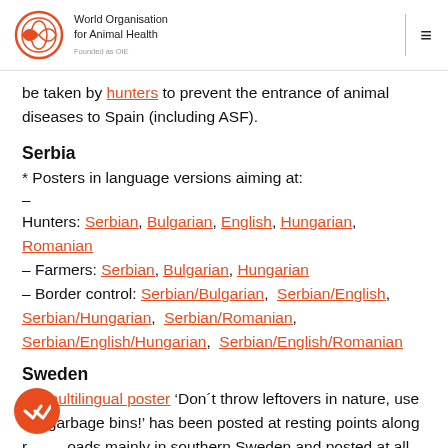World Organisation for Animal Health Founded as OIE
be taken by hunters to prevent the entrance of animal diseases to Spain (including ASF).
Serbia
* Posters in language versions aiming at:
–
Hunters: Serbian, Bulgarian, English, Hungarian, Romanian
– Farmers: Serbian, Bulgarian, Hungarian
– Border control: Serbian/Bulgarian, Serbian/English, Serbian/Hungarian, Serbian/Romanian, Serbian/English/Hungarian, Serbian/English/Romanian
Sweden
* A multilingual poster 'Don´t throw leftovers in nature, use the garbage bins!' has been posted at resting points along roads mainly in southern Sweden and posted at all Customs offices and BIPs.